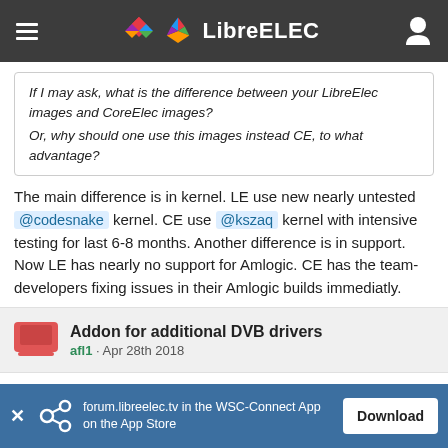LibreELEC
If I may ask, what is the difference between your LibreElec images and CoreElec images?
Or, why should one use this images instead CE, to what advantage?
The main difference is in kernel. LE use new nearly untested @codesnake kernel. CE use @kszaq kernel with intensive testing for last 6-8 months. Another difference is in support. Now LE has nearly no support for Amlogic. CE has the team-developers fixing issues in their Amlogic builds immediatly.
Addon for additional DVB drivers
afl1 · Apr 28th 2018
Try to update TVheadend 4.3 from CE repository:
forum.libreelec.tv in the WSC-Connect App on the App Store